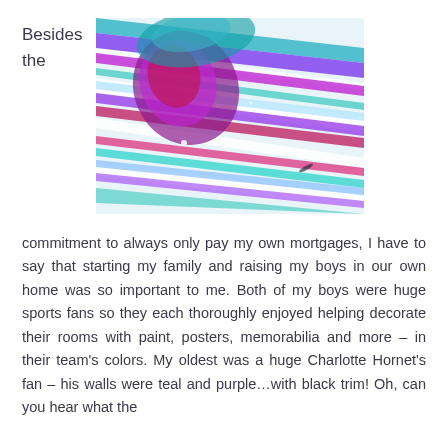Besides
the
[Figure (illustration): Abstract fluid acrylic painting with diagonal streaks of purple, magenta, teal, blue, and white colors swirling together]
commitment to always only pay my own mortgages, I have to say that starting my family and raising my boys in our own home was so important to me. Both of my boys were huge sports fans so they each thoroughly enjoyed helping decorate their rooms with paint, posters, memorabilia and more – in their team's colors. My oldest was a huge Charlotte Hornet's fan – his walls were teal and purple…with black trim! Oh, can you hear what the